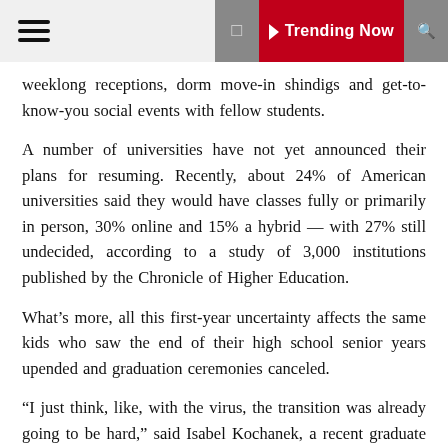☰  ▶ Trending Now  🔍
weeklong receptions, dorm move-in shindigs and get-to-know-you social events with fellow students.
A number of universities have not yet announced their plans for resuming. Recently, about 24% of American universities said they would have classes fully or primarily in person, 30% online and 15% a hybrid — with 27% still undecided, according to a study of 3,000 institutions published by the Chronicle of Higher Education.
What’s more, all this first-year uncertainty affects the same kids who saw the end of their high school senior years upended and graduation ceremonies canceled.
“I just think, like, with the virus, the transition was already going to be hard,” said Isabel Kochanek, a recent graduate of Lyons Township High School in La Grange. She’s planning to head to Purdue University Northwest soon for her freshman year, where she’ll study biology